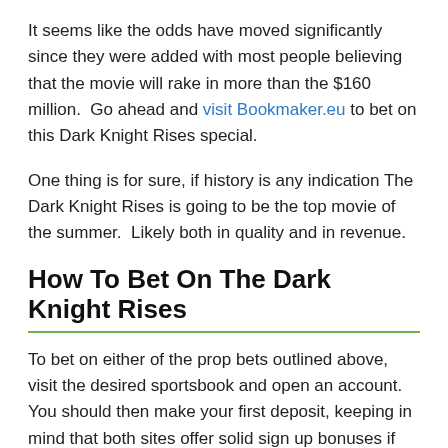It seems like the odds have moved significantly since they were added with most people believing that the movie will rake in more than the $160 million.  Go ahead and visit Bookmaker.eu to bet on this Dark Knight Rises special.
One thing is for sure, if history is any indication The Dark Knight Rises is going to be the top movie of the summer.  Likely both in quality and in revenue.
How To Bet On The Dark Knight Rises
To bet on either of the prop bets outlined above, visit the desired sportsbook and open an account.  You should then make your first deposit, keeping in mind that both sites offer solid sign up bonuses if you read their terms.
At BetOnline.ag you will find the bet under ‘Futures & Props’ and ‘Entertainment’.